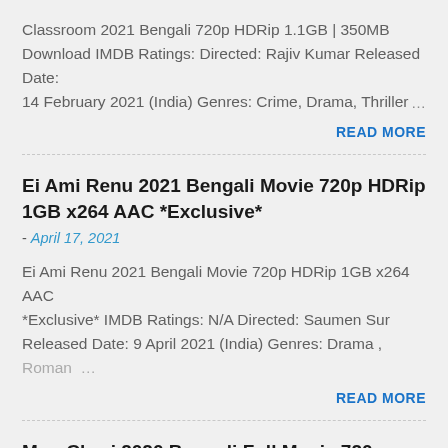Classroom 2021 Bengali 720p HDRip 1.1GB | 350MB Download IMDB Ratings: Directed: Rajiv Kumar Released Date: 14 February 2021 (India) Genres: Crime, Drama, Thriller …
READ MORE
Ei Ami Renu 2021 Bengali Movie 720p HDRip 1GB x264 AAC *Exclusive*
- April 17, 2021
Ei Ami Renu 2021 Bengali Movie 720p HDRip 1GB x264 AAC *Exclusive* IMDB Ratings: N/A Directed: Saumen Sur Released Date: 9 April 2021 (India) Genres: Drama , Roman …
READ MORE
Mon Churi 2020 Bengali Full Movie 720p